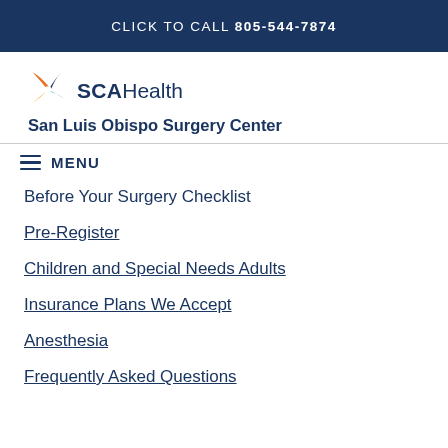CLICK TO CALL 805-544-7874
[Figure (logo): SCA Health logo with colorful pinwheel icon and text 'SCA Health', subtitle 'San Luis Obispo Surgery Center']
MENU
Before Your Surgery Checklist
Pre-Register
Children and Special Needs Adults
Insurance Plans We Accept
Anesthesia
Frequently Asked Questions